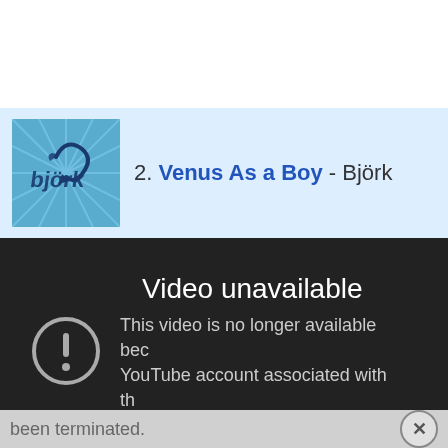[Figure (screenshot): Music playlist item showing album art for Björk alongside track label '2. Venus As a Boy - Björk' on a light blue highlighted row, with a YouTube 'Video unavailable' error overlay below showing an exclamation icon and message 'This video is no longer available because the YouTube account associated with this video has been terminated.']